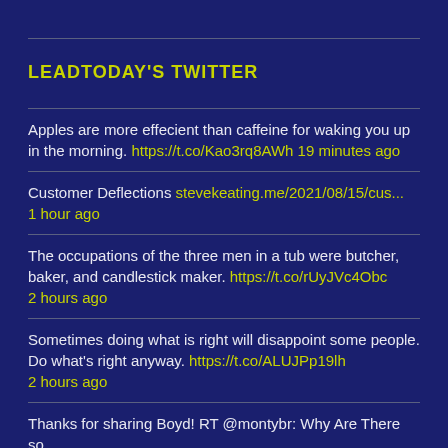LEADTODAY'S TWITTER
Apples are more effecient than caffeine for waking you up in the morning. https://t.co/Kao3rq8AWh 19 minutes ago
Customer Deflections stevekeating.me/2021/08/15/cus... 1 hour ago
The occupations of the three men in a tub were butcher, baker, and candlestick maker. https://t.co/rUyJVc4Obc 2 hours ago
Sometimes doing what is right will disappoint some people. Do what's right anyway. https://t.co/ALUJPp19lh 2 hours ago
Thanks for sharing Boyd! RT @montybr: Why Are There so